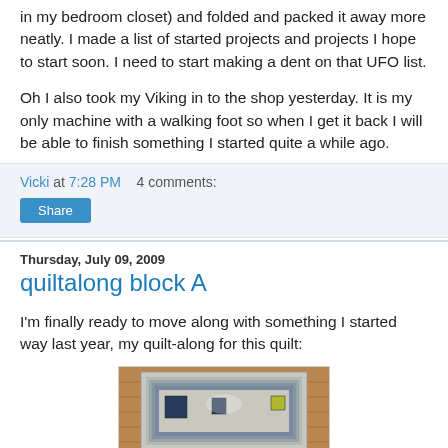in my bedroom closet) and folded and packed it away more neatly. I made a list of started projects and projects I hope to start soon. I need to start making a dent on that UFO list.
Oh I also took my Viking in to the shop yesterday. It is my only machine with a walking foot so when I get it back I will be able to finish something I started quite a while ago.
Vicki at 7:28 PM    4 comments:
Share
Thursday, July 09, 2009
quiltalong block A
I'm finally ready to move along with something I started way last year, my quilt-along for this quilt:
[Figure (photo): A quilt with blue and gray striped border and dark square center blocks, laid out on a wooden floor, photographed from above.]